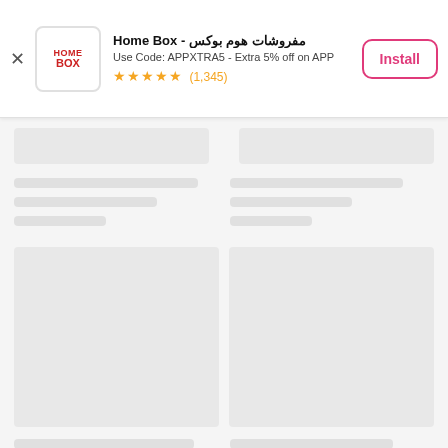[Figure (screenshot): App install ad banner for Home Box - مفروشات هوم بوكس with logo, subtitle 'Use Code: APPXTRA5 - Extra 5% off on APP', 5-star rating (1,345), and Install button]
[Figure (screenshot): Loading skeleton screen below the ad banner showing gray placeholder rectangles for content cards and text lines]